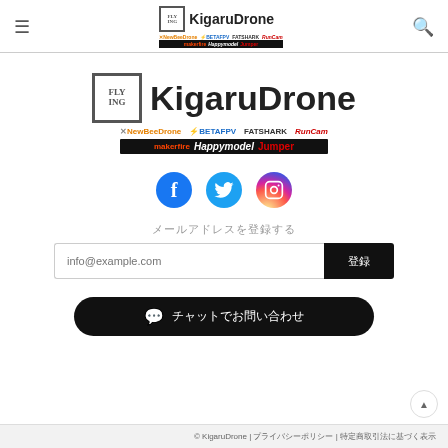KigaruDrone — navigation header with hamburger menu and search icon
[Figure (logo): KigaruDrone logo with brand partner logos (NewBeeDrone, BETAFPV, FATSHARK, RunCam, Makerfire, Happymodel, Jumper)]
[Figure (logo): Social media icons: Facebook, Twitter, Instagram]
メールアドレスを登録する
info@example.com — subscribe input field with submit button
チャットでお問い合わせ
© KigaruDrone | プライバシーポリシー | 特定商取引法に基づく表示